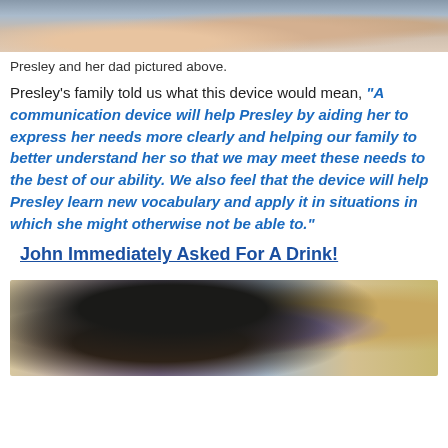[Figure (photo): Top portion of a photo showing Presley and her dad]
Presley and her dad pictured above.
Presley’s family told us what this device would mean, “A communication device will help Presley by aiding her to express her needs more clearly and helping our family to better understand her so that we may meet these needs to the best of our ability. We also feel that the device will help Presley learn new vocabulary and apply it in situations in which she might otherwise not be able to.”
John Immediately Asked For A Drink!
[Figure (photo): Bottom photo showing a person with a leopard print headband]